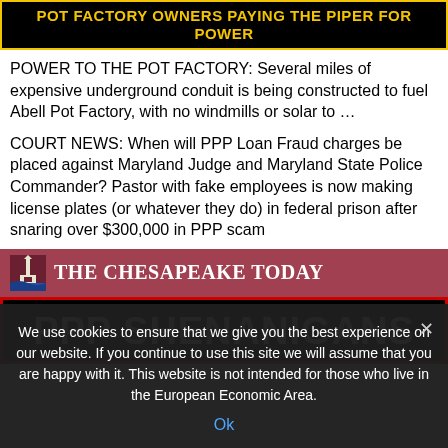POT FACTORY OWNERS PAYING THE PIPER FOR POWER
POWER TO THE POT FACTORY: Several miles of expensive underground conduit is being constructed to fuel Abell Pot Factory, with no windmills or solar to …
COURT NEWS: When will PPP Loan Fraud charges be placed against Maryland Judge and Maryland State Police Commander? Pastor with fake employees is now making license plates (or whatever they do) in federal prison after snaring over $300,000 in PPP scam
[Figure (screenshot): The Chesapeake Today newspaper logo with small lighthouse icon on reddish-brown background]
PPP SHENANIGANS
We use cookies to ensure that we give you the best experience on our website. If you continue to use this site we will assume that you are happy with it. This website is not intended for those who live in the European Economic Area.
Ok